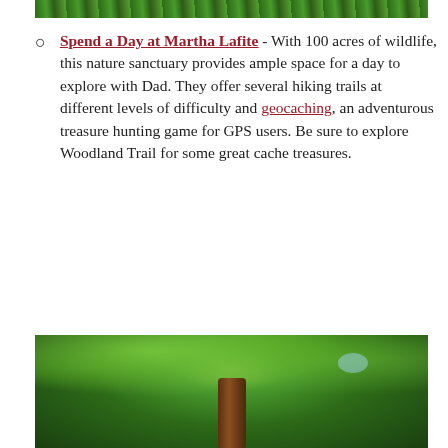[Figure (photo): Top strip of green forest/trees, partially visible at the top of the page]
Spend a Day at Martha Lafite - With 100 acres of wildlife, this nature sanctuary provides ample space for a day to explore with Dad. They offer several hiking trails at different levels of difficulty and geocaching, an adventurous treasure hunting game for GPS users. Be sure to explore Woodland Trail for some great cache treasures.
[Figure (photo): Forest scene with a large tree, green canopy and foliage, partially visible at the bottom of the page]